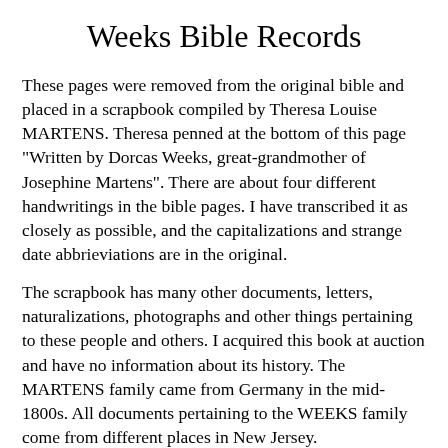Weeks Bible Records
These pages were removed from the original bible and placed in a scrapbook compiled by Theresa Louise MARTENS. Theresa penned at the bottom of this page "Written by Dorcas Weeks, great-grandmother of Josephine Martens". There are about four different handwritings in the bible pages. I have transcribed it as closely as possible, and the capitalizations and strange date abbrieviations are in the original.
The scrapbook has many other documents, letters, naturalizations, photographs and other things pertaining to these people and others. I acquired this book at auction and have no information about its history. The MARTENS family came from Germany in the mid-1800s. All documents pertaining to the WEEKS family come from different places in New Jersey.